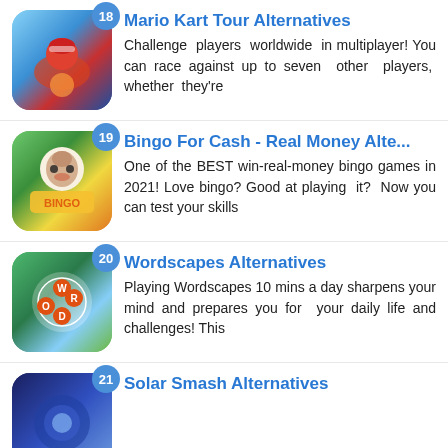18 Mario Kart Tour Alternatives - Challenge players worldwide in multiplayer! You can race against up to seven other players, whether they're
19 Bingo For Cash - Real Money Alte... - One of the BEST win-real-money bingo games in 2021! Love bingo? Good at playing it? Now you can test your skills
20 Wordscapes Alternatives - Playing Wordscapes 10 mins a day sharpens your mind and prepares you for your daily life and challenges! This
21 Solar Smash Alternatives